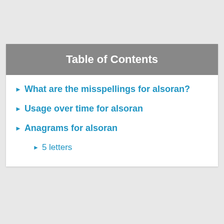Table of Contents
What are the misspellings for alsoran?
Usage over time for alsoran
Anagrams for alsoran
5 letters